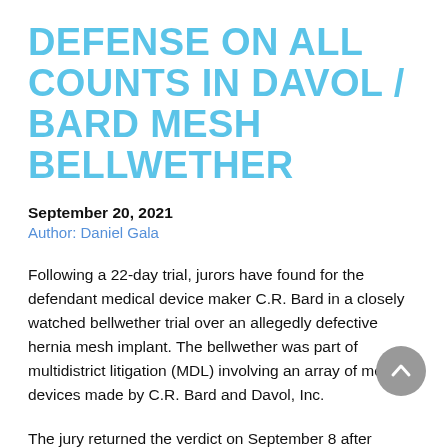DEFENSE ON ALL COUNTS IN DAVOL / BARD MESH BELLWETHER
September 20, 2021
Author: Daniel Gala
Following a 22-day trial, jurors have found for the defendant medical device maker C.R. Bard in a closely watched bellwether trial over an allegedly defective hernia mesh implant. The bellwether was part of multidistrict litigation (MDL) involving an array of mesh devices made by C.R. Bard and Davol, Inc.
The jury returned the verdict on September 8 after